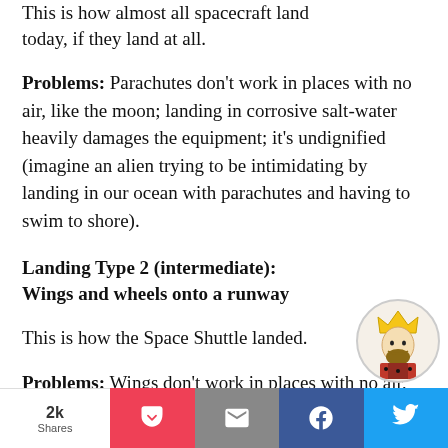This is how almost all spacecraft land today, if they land at all.
Problems: Parachutes don't work in places with no air, like the moon; landing in corrosive salt-water heavily damages the equipment; it's undignified (imagine an alien trying to be intimidating by landing in our ocean with parachutes and having to swim to shore).
Landing Type 2 (intermediate): Wings and wheels onto a runway
This is how the Space Shuttle landed.
Problems: Wings don't work in places with no air, like the moon, [7] or no runways, like everywhere besides
2k Shares [Pocket] [Email] [Facebook] [Twitter]